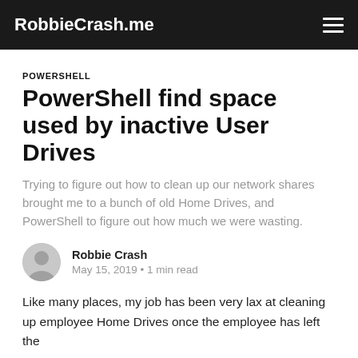RobbieCrash.me
POWERSHELL
PowerShell find space used by inactive User Drives
Trying to figure out how to clean up our network shares brought me to a bunch of old Home Drives, and PowerShell to figure out how much we were wasting.
Robbie Crash
May 15, 2019 • 1 min read
Like many places, my job has been very lax at cleaning up employee Home Drives once the employee has left the